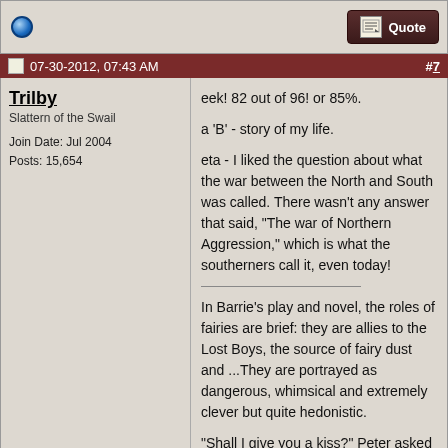[Figure (screenshot): Forum post top bar with radio/circle icon on left and Quote button on right]
07-30-2012, 07:43 AM  #7
Trilby
Slattern of the Swail
Join Date: Jul 2004
Posts: 15,654
eek! 82 out of 96! or 85%.

a 'B' - story of my life.

eta - I liked the question about what the war between the North and South was called. There wasn't any answer that said, "The war of Northern Aggression," which is what the southerners call it, even today!

In Barrie's play and novel, the roles of fairies are brief: they are allies to the Lost Boys, the source of fairy dust and ...They are portrayed as dangerous, whimsical and extremely clever but quite hedonistic.

"Shall I give you a kiss?" Peter asked and, jerking an acorn button off his coat, solemnly presented it to her.
—James Barrie